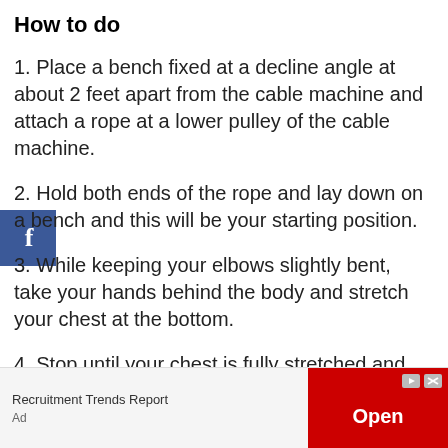How to do
1. Place a bench fixed at a decline angle at about 2 feet apart from the cable machine and attach a rope at a lower pulley of the cable machine.
2. Hold both ends of the rope and lay down on a bench and this will be your starting position.
3. While keeping your elbows slightly bent, take your hands behind the body and stretch your chest at the bottom.
4. Stop until your chest is fully stretched and then bring your hands up toward the starting position and then repeat the movement.
[Figure (other): Facebook share button (blue square with white f)]
[Figure (other): Advertisement banner: Recruitment Trends Report with red Open button]